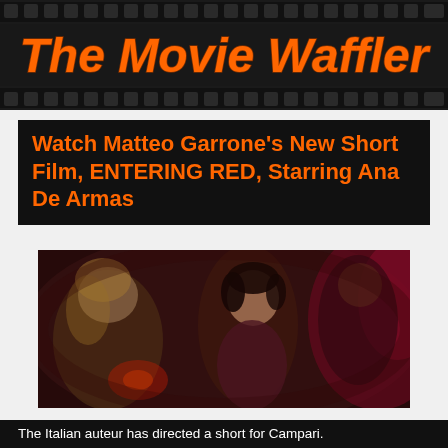The Movie Waffler
Watch Matteo Garrone's New Short Film, ENTERING RED, Starring Ana De Armas
[Figure (photo): A blurred cinematic scene showing a young woman in profile surrounded by other people in a dimly lit, red-tinted setting.]
The Italian auteur has directed a short for Campari.